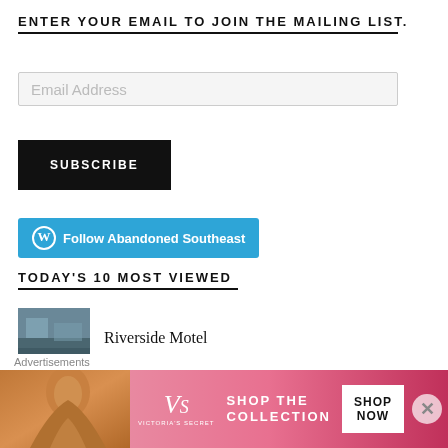ENTER YOUR EMAIL TO JOIN THE MAILING LIST.
Email Address
SUBSCRIBE
Follow Abandoned Southeast
TODAY'S 10 MOST VIEWED
Riverside Motel
Century Funeral Home
Advertisements
[Figure (photo): Victoria's Secret advertisement banner with model, VS logo, 'SHOP THE COLLECTION' text, and 'SHOP NOW' button]